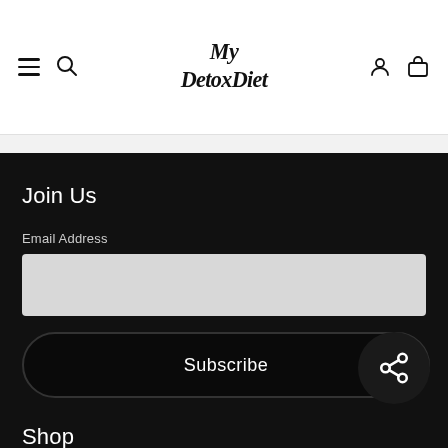[Figure (logo): My Detox Diet logo in cursive script font, center of header navigation bar]
Navigation header with hamburger menu, search icon, My Detox Diet logo, account icon, and bag/cart icon
Join Us
Email Address
Subscribe
Shop
Shop All